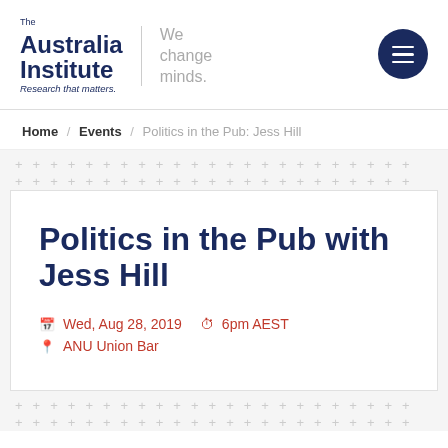[Figure (logo): The Australia Institute logo with tagline 'Research that matters.' and 'We change minds.' text, plus a dark navy circular menu button]
Home / Events / Politics in the Pub: Jess Hill
Politics in the Pub with Jess Hill
Wed, Aug 28, 2019  6pm AEST  ANU Union Bar